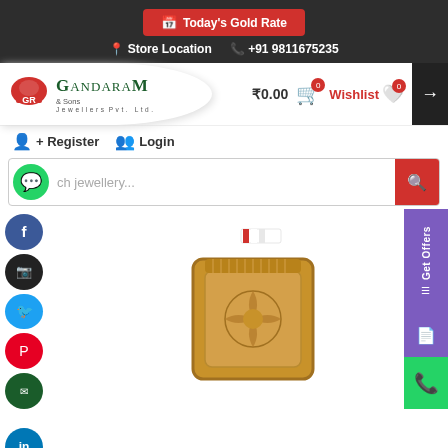[Figure (screenshot): Gandaram Jewellers website screenshot showing Today's Gold Rate button, store location, phone number, logo, cart, wishlist, register/login links, search bar with WhatsApp icon, product image of a gold ring, social media icons, and right-side floating panels (Get Offers, phone).]
Today's Gold Rate
Store Location   +91 9811675235
Gandaram & Sons Jewellers Pvt. Ltd.
₹0.00   0   Wishlist   0
Register   Login
ch jewellery...
[Figure (photo): A gold ring with engraved floral design on square face, yellow gold, with red and white tag attached.]